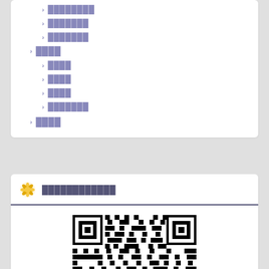████████
███████
███████
████
████
████
████
███████
████
████████████
[Figure (other): QR code image, partially visible, showing a black and white QR code pattern]